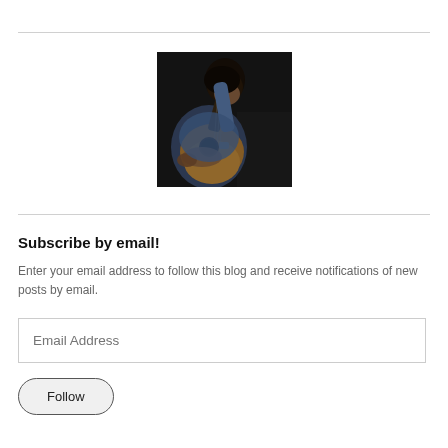[Figure (photo): A person playing an acoustic guitar, shot in dark moody tones, wearing a blue shirt and watch.]
Subscribe by email!
Enter your email address to follow this blog and receive notifications of new posts by email.
Email Address
Follow